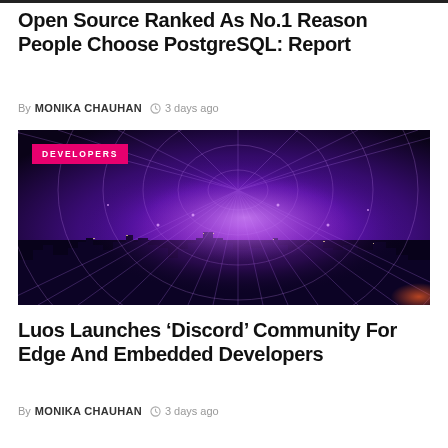Open Source Ranked As No.1 Reason People Choose PostgreSQL: Report
By MONIKA CHAUHAN  3 days ago
[Figure (photo): Futuristic cityscape at night with glowing purple/pink geometric grid lines radiating from horizon over skyscrapers, with 'DEVELOPERS' badge overlay]
Luos Launches ‘Discord’ Community For Edge And Embedded Developers
By MONIKA CHAUHAN  3 days ago